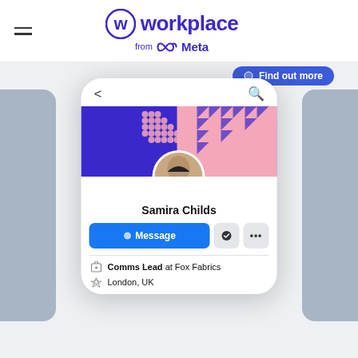workplace from Meta
[Figure (screenshot): Mobile app screenshot showing a Workplace from Meta user profile page for Samira Childs, with a decorative cover photo, profile picture, Message button, job title 'Comms Lead at Fox Fabrics', and location 'London, UK'. There are side phone mockups partially visible on left and right, and a 'Find out more' button at the top.]